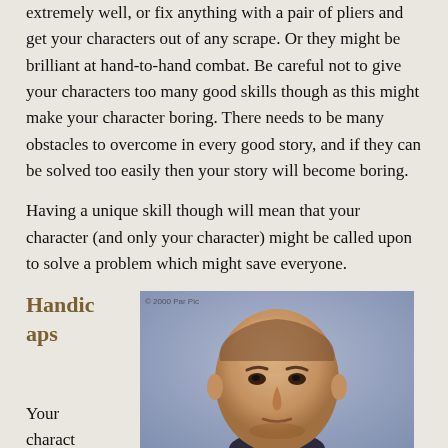extremely well, or fix anything with a pair of pliers and get your characters out of any scrape. Or they might be brilliant at hand-to-hand combat. Be careful not to give your characters too many good skills though as this might make your character boring. There needs to be many obstacles to overcome in every good story, and if they can be solved too easily then your story will become boring.
Having a unique skill though will mean that your character (and only your character) might be called upon to solve a problem which might save everyone.
Handicaps
[Figure (photo): A bald man with a serious expression, wearing a dark turtleneck, looking slightly to the side. Watermark reads '© 2000 Par Pic'.]
Your charact